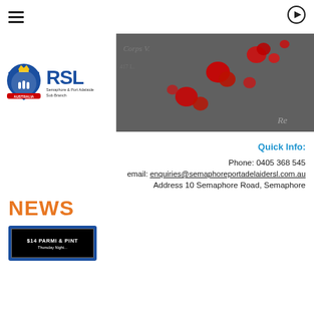[Figure (logo): Navigation bar with hamburger menu icon on left and login arrow icon on right]
[Figure (photo): RSL Semaphore & Port Adelaide Sub Branch banner with logo on white background on left, and photo of red poppies on dark background on right, with partial text 'Re' visible]
Quick Info:
Phone: 0405 368 545
email: enquiries@semaphoreportadelaidersl.com.au
Address 10 Semaphore Road, Semaphore
NEWS
[Figure (photo): News card with blue border and black background showing '$14 PARMI & PINT' text, Thursday Night promotion]